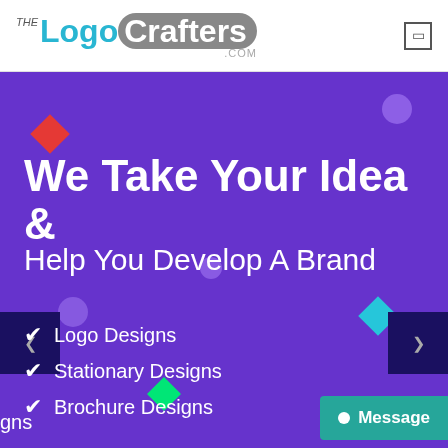[Figure (logo): The LogoCrafters .com logo in header]
We Take Your Idea &
Help You Develop A Brand
Logo Designs
Stationary Designs
Brochure Designs
Message